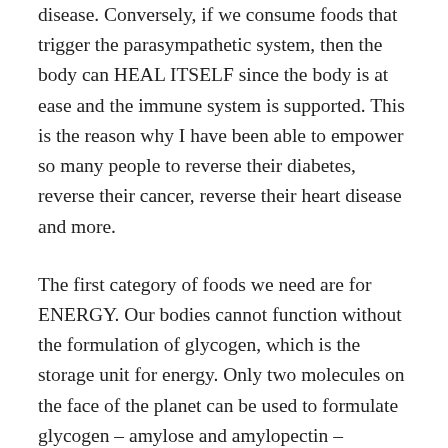disease. Conversely, if we consume foods that trigger the parasympathetic system, then the body can HEAL ITSELF since the body is at ease and the immune system is supported. This is the reason why I have been able to empower so many people to reverse their diabetes, reverse their cancer, reverse their heart disease and more.
The first category of foods we need are for ENERGY. Our bodies cannot function without the formulation of glycogen, which is the storage unit for energy. Only two molecules on the face of the planet can be used to formulate glycogen – amylose and amylopectin –